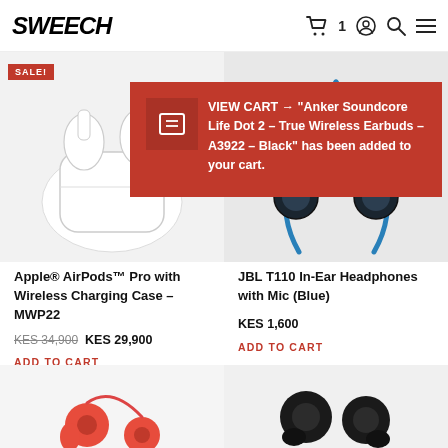SWEECH — navigation with cart (1 item), account, search, menu icons
[Figure (photo): Apple AirPods Pro with Wireless Charging Case in white, shown with charging case open, with SALE! badge in top left corner]
[Figure (photo): JBL T110 In-Ear Headphones with Mic in Blue with blue cable visible]
[Figure (screenshot): Red cart notification overlay showing VIEW CART arrow and message: Anker Soundcore Life Dot 2 – True Wireless Earbuds – A3922 – Black has been added to your cart.]
Apple® AirPods™ Pro with Wireless Charging Case – MWP22
KES 34,900  KES 29,900
ADD TO CART
JBL T110 In-Ear Headphones with Mic (Blue)
KES 1,600
ADD TO CART
[Figure (photo): Red in-ear headphones shown at bottom of page]
[Figure (photo): Black wireless earbuds shown at bottom of page]